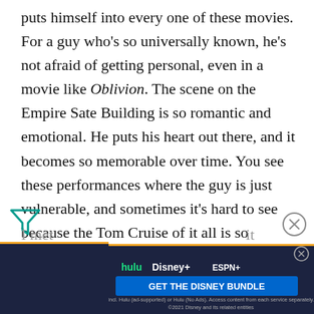puts himself into every one of these movies. For a guy who's so universally known, he's not afraid of getting personal, even in a movie like Oblivion. The scene on the Empire Sate Building is so romantic and emotional. He puts his heart out there, and it becomes so memorable over time. You see these performances where the guy is just vulnerable, and sometimes it's hard to see because the Tom Cruise of it all is so commanding at the center of the movie. You see more of it the second time.
[Figure (other): Teal funnel/filter icon (ad indicator) on the left side, and a circular X close button on the right side]
I met ... Chri...
[Figure (other): Disney Bundle advertisement banner showing Hulu, Disney+, ESPN+ logos with 'GET THE DISNEY BUNDLE' call-to-action button and fine print about services]